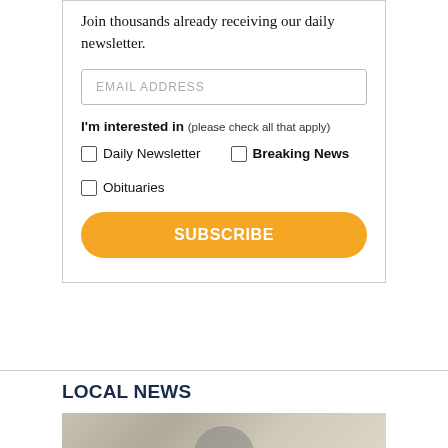Join thousands already receiving our daily newsletter.
EMAIL ADDRESS
I'm interested in (please check all that apply)
Daily Newsletter
Breaking News
Obituaries
SUBSCRIBE
LOCAL NEWS
[Figure (photo): Partial view of a building exterior with architectural details, person partially visible at bottom]